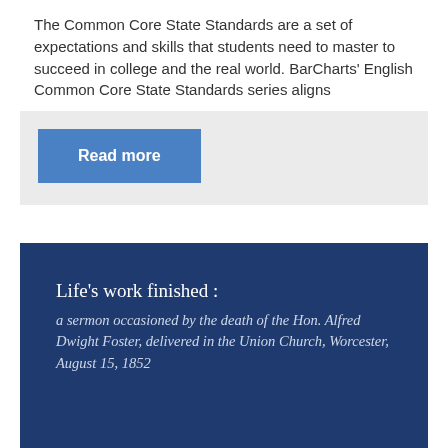The Common Core State Standards are a set of expectations and skills that students need to master to succeed in college and the real world. BarCharts' English Common Core State Standards series aligns
Read more
Life's work finished :
a sermon occasioned by the death of the Hon. Alfred Dwight Foster, delivered in the Union Church, Worcester, August 15, 1852